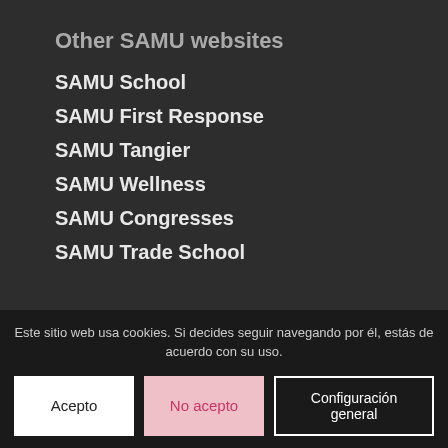Other SAMU websites
SAMU School
SAMU First Response
SAMU Tangier
SAMU Wellness
SAMU Congresses
SAMU Trade School
Este sitio web usa cookies. Si decides seguir navegando por él, estás de acuerdo con su uso.
Acepto | No acepto | Configuración general